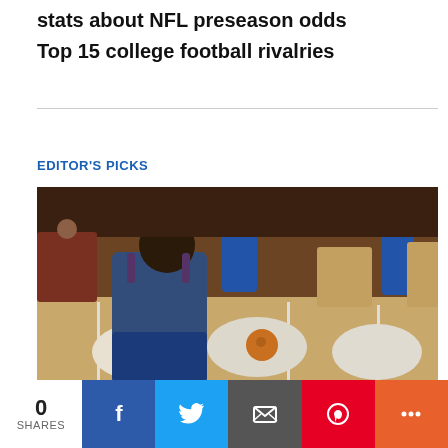stats about NFL preseason odds
Top 15 college football rivalries
EDITOR'S PICKS
[Figure (photo): People bowling at a bowling alley. Several individuals in blue shirts are visible near the lanes, with bowling balls and pins in the foreground.]
0 SHARES
Facebook share button
Twitter share button
Email share button
Pinterest share button
More share button